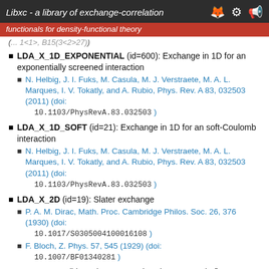Libxc - a library of exchange-correlation
functionals for density-functional theory
LDA_X_1D_EXPONENTIAL (id=600): Exchange in 1D for an exponentially screened interaction
N. Helbig, J. I. Fuks, M. Casula, M. J. Verstraete, M. A. L. Marques, I. V. Tokatly, and A. Rubio, Phys. Rev. A 83, 032503 (2011) (doi: 10.1103/PhysRevA.83.032503)
LDA_X_1D_SOFT (id=21): Exchange in 1D for an soft-Coulomb interaction
N. Helbig, J. I. Fuks, M. Casula, M. J. Verstraete, M. A. L. Marques, I. V. Tokatly, and A. Rubio, Phys. Rev. A 83, 032503 (2011) (doi: 10.1103/PhysRevA.83.032503)
LDA_X_2D (id=19): Slater exchange
P. A. M. Dirac, Math. Proc. Cambridge Philos. Soc. 26, 376 (1930) (doi: 10.1017/S0305004100016108)
F. Bloch, Z. Phys. 57, 545 (1929) (doi: 10.1007/BF01340281)
LDA_X_ERF (id=546): Attenuated exchange LDA (erf)